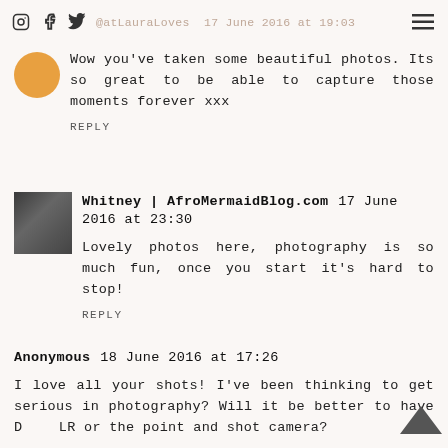@atLauraLoves 17 June 2016 at 19:03
Wow you've taken some beautiful photos. Its so great to be able to capture those moments forever xxx
REPLY
Whitney | AfroMermaidBlog.com 17 June 2016 at 23:30
Lovely photos here, photography is so much fun, once you start it's hard to stop!
REPLY
Anonymous 18 June 2016 at 17:26
I love all your shots! I've been thinking to get serious in photography? Will it be better to have DSLR or the point and shot camera?